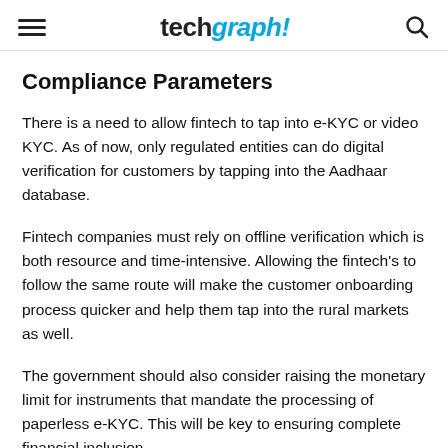techgraph!
Compliance Parameters
There is a need to allow fintech to tap into e-KYC or video KYC. As of now, only regulated entities can do digital verification for customers by tapping into the Aadhaar database.
Fintech companies must rely on offline verification which is both resource and time-intensive. Allowing the fintech's to follow the same route will make the customer onboarding process quicker and help them tap into the rural markets as well.
The government should also consider raising the monetary limit for instruments that mandate the processing of paperless e-KYC. This will be key to ensuring complete financial inclusion.